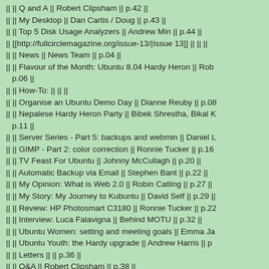|| || Q and A || Robert Clipsham || p.42 ||
|| || My Desktop || Dan Cartis / Doug || p.43 ||
|| || Top 5 Disk Usage Analyzers || Andrew Min || p.44 ||
|| [[http://fullcirclemagazine.org/issue-13/|Issue 13]] || || ||
|| || News || News Team || p.04 ||
|| || Flavour of the Month: Ubuntu 8.04 Hardy Heron || Rob p.06 ||
|| || How-To: || || ||
|| || Organise an Ubuntu Demo Day || Dianne Reuby || p.08
|| || Nepalese Hardy Heron Party || Bibek Shrestha, Bikal K p.11 ||
|| || Server Series - Part 5: backups and webmin || Daniel L
|| || GIMP - Part 2: color correction || Ronnie Tucker || p.16
|| || TV Feast For Ubuntu || Johnny McCullagh || p.20 ||
|| || Automatic Backup via Email || Stephen Bant || p.22 ||
|| || My Opinion: What is Web 2.0 || Robin Catling || p.27 ||
|| || My Story: My Journey to Kubuntu || David Self || p.29 ||
|| || Review: HP Photosmart C3180 || Ronnie Tucker || p.22
|| || Interview: Luca Falavigna || Behind MOTU || p.32 ||
|| || Ubuntu Women: setting and meeting goals || Emma Ja
|| || Ubuntu Youth: the Hardy upgrade || Andrew Harris || p
|| || Letters || || p.36 ||
|| || Q&A || Robert Clipsham || p.38 ||